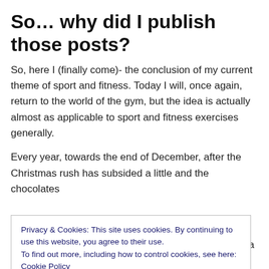So… why did I publish those posts?
So, here I (finally come)- the conclusion of my current theme of sport and fitness. Today I will, once again, return to the world of the gym, but the idea is actually almost as applicable to sport and fitness exercises generally.
Every year, towards the end of December, after the Christmas rush has subsided a little and the chocolates
Privacy & Cookies: This site uses cookies. By continuing to use this website, you agree to their use.
To find out more, including how to control cookies, see here: Cookie Policy
spirit of soon-to-be-crushed optimism), but there are a few